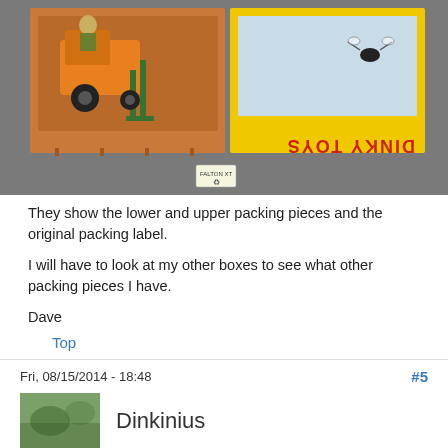[Figure (photo): Photo of Dinky Toys box opened showing orange forklift toy with driver on left side and blue packing insert on right side with yellow Dinky Toys branded box visible. A price sticker is visible on the gray surface below.]
They show the lower and upper packing pieces and the original packing label.
I will have to look at my other boxes to see what other packing pieces I have.
Dave
Top
Fri, 08/15/2014 - 18:48
#5
[Figure (photo): Small avatar image showing a blurry green plant/nature background]
Dinkinius